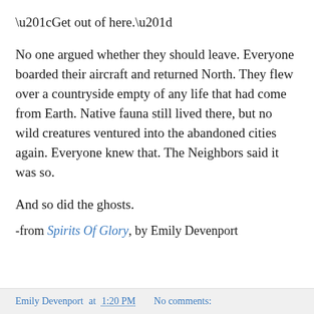“Get out of here.”
No one argued whether they should leave. Everyone boarded their aircraft and returned North. They flew over a countryside empty of any life that had come from Earth. Native fauna still lived there, but no wild creatures ventured into the abandoned cities again. Everyone knew that. The Neighbors said it was so.
And so did the ghosts.
-from Spirits Of Glory, by Emily Devenport
Emily Devenport at 1:20 PM   No comments: